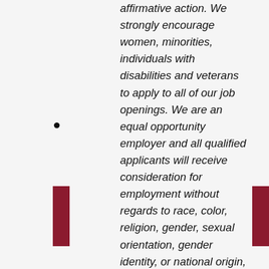affirmative action. We strongly encourage women, minorities, individuals with disabilities and veterans to apply to all of our job openings. We are an equal opportunity employer and all qualified applicants will receive consideration for employment without regards to race, color, religion, gender, sexual orientation, gender identity, or national origin, age, disability status, marital status, amnesty, Genetic Information & Testing, Family/Medical/Military Leave, protected veteran status, or any other characteristic protected by law. This policy applies to all terms and conditions of employment including hiring, placement, promotion,
DO
GA
GA
EN
ST
PA
SU
SU
DE